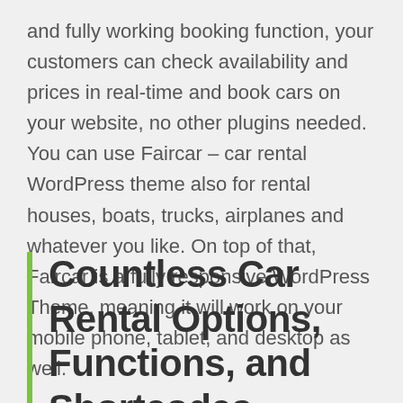and fully working booking function, your customers can check availability and prices in real-time and book cars on your website, no other plugins needed. You can use Faircar – car rental WordPress theme also for rental houses, boats, trucks, airplanes and whatever you like. On top of that, Faircar is a fully responsive WordPress Theme, meaning it will work on your mobile phone, tablet, and desktop as well.
Countless Car Rental Options, Functions, and Shortcodes